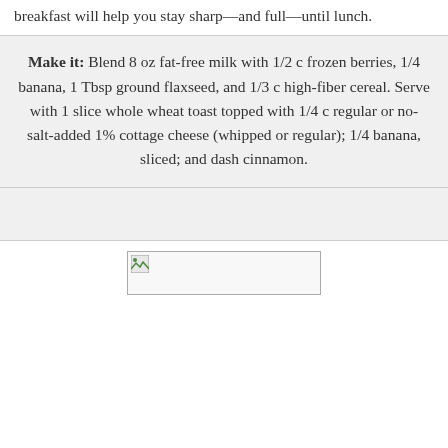breakfast will help you stay sharp—and full—until lunch.
Make it: Blend 8 oz fat-free milk with 1/2 c frozen berries, 1/4 banana, 1 Tbsp ground flaxseed, and 1/3 c high-fiber cereal. Serve with 1 slice whole wheat toast topped with 1/4 c regular or no-salt-added 1% cottage cheese (whipped or regular); 1/4 banana, sliced; and dash cinnamon.
[Figure (photo): Broken/unloaded image placeholder for a food photo]
Cereal with Peaches and Milk